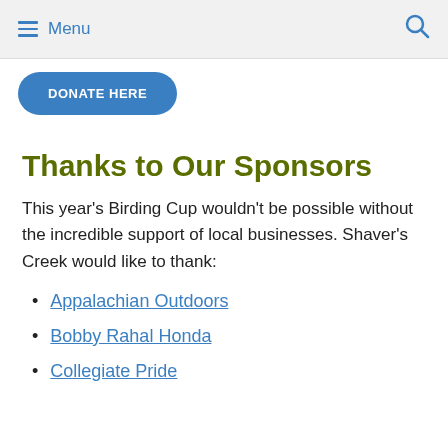Menu
DONATE HERE
Thanks to Our Sponsors
This year's Birding Cup wouldn't be possible without the incredible support of local businesses. Shaver's Creek would like to thank:
Appalachian Outdoors
Bobby Rahal Honda
Collegiate Pride